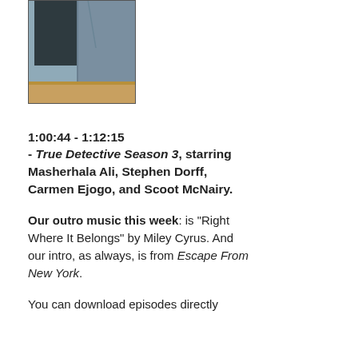[Figure (photo): Photo of a suit jacket hanging near a dark monitor or board, with a wooden surface visible at the bottom. Background is light blue-gray.]
1:00:44 - 1:12:15 - True Detective Season 3, starring Masherhala Ali, Stephen Dorff, Carmen Ejogo, and Scoot McNairy.
Our outro music this week: is "Right Where It Belongs" by Miley Cyrus. And our intro, as always, is from Escape From New York.
You can download episodes directly